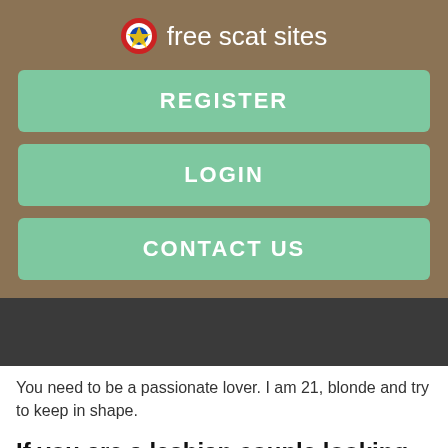free scat sites
REGISTER
LOGIN
CONTACT US
[Figure (photo): Dark banner image area]
You need to be a passionate lover. I am 21, blonde and try to keep in shape.
If you are a lesbian couple looking to start a family, continue reading. blondes want fuck
Size 38DD, clean shaven, with a huge ass, and cute feet. I like a